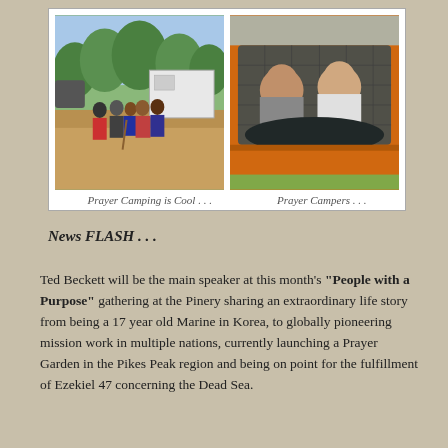[Figure (photo): Two photos side by side. Left photo: group of young people standing in front of a white trailer in a rural setting with trees. Right photo: people inside a large orange camping tent looking through the mesh window.]
Prayer Camping is Cool . . .     Prayer Campers . . .
News FLASH . . .
Ted Beckett will be the main speaker at this month's "People with a Purpose" gathering at the Pinery sharing an extraordinary life story from being a 17 year old Marine in Korea, to globally pioneering mission work in multiple nations, currently launching a Prayer Garden in the Pikes Peak region and being on point for the fulfillment of Ezekiel 47 concerning the Dead Sea.